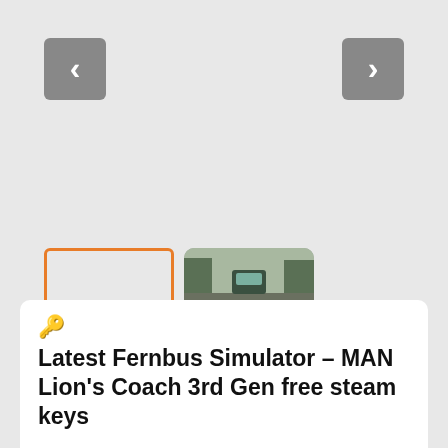[Figure (screenshot): Left navigation arrow button (chevron left) on grey background]
[Figure (screenshot): Right navigation arrow button (chevron right) on grey background]
[Figure (screenshot): Orange-bordered empty thumbnail (currently selected)]
[Figure (photo): Thumbnail photo of a bus (Fernbus/coach) on a road with trees]
Latest Fernbus Simulator – MAN Lion's Coach 3rd Gen free steam keys